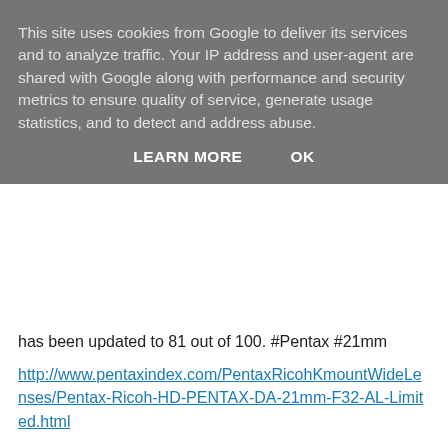This site uses cookies from Google to deliver its services and to analyze traffic. Your IP address and user-agent are shared with Google along with performance and security metrics to ensure quality of service, generate usage statistics, and to detect and address abuse.
LEARN MORE    OK
has been updated to 81 out of 100. #Pentax #21mm
http://www.pentaxindex.com/PentaxRicohKmountWideLenses/Pentax-Ricoh-HD-PENTAX-DA-21mm-F32-AL-Limited.html
Pentax 18-135 vs 150-450: Compare the two products against each other. See a comparison of the review ratings and see which key features are best on each product.#Pentax #Pentax_18_135mm #Pentax_150_450mm
http://www.pentaxindex.com/PentaxRicohKmountNormalZoomLenses/Pentax-18135/Pentax-18135-vs-Pentax-150450-AW.html